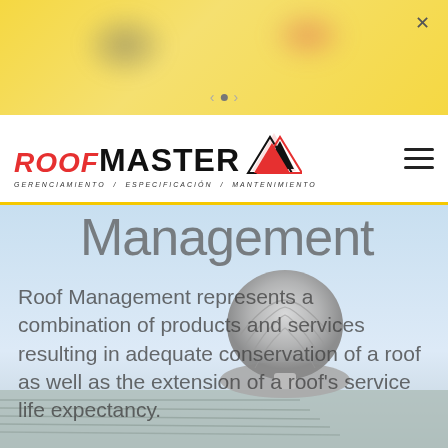[Figure (screenshot): Yellow advertisement banner with blurred gray and orange-red blobs, navigation arrows, dot indicator, and close X button]
[Figure (logo): RoofMaster logo with red italic ROOF, bold black MASTER text, arrow chevron graphic, and Spanish tagline GERENCIAMIENTO / ESPECIFICACIÓN / MANTENIMIENTO]
Management
Roof Management represents a combination of products and services resulting in adequate conservation of a roof as well as the extension of a roof's service life expectancy.
[Figure (photo): Industrial rooftop with a spinning ventilator turbine cap on a corrugated metal roof against a light blue sky background]